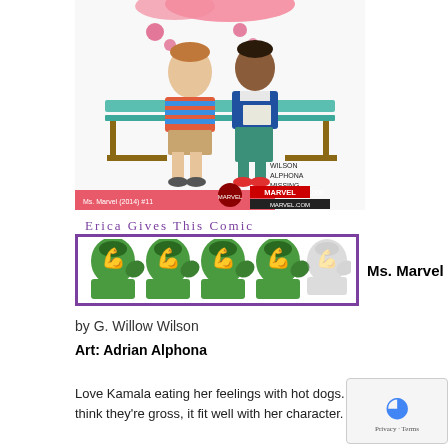[Figure (illustration): Comic book cover of Ms. Marvel #16 showing two teenagers sitting on a bench with a thought bubble above them. Text on cover: WILSON, ALPHONA, MISSING, MARVEL 008, MARVEL.COM, Ms. Marvel (2014) #11]
Erica Gives This Comic
[Figure (illustration): Rating graphic showing 4 full She-Hulk flexing emoji icons in color and 1 faded/gray She-Hulk icon, inside a purple bordered box]
Ms. Marvel #16
by G. Willow Wilson
Art: Adrian Alphona
Love Kamala eating her feelings with hot dogs. Eve think they're gross, it fit well with her character. That and